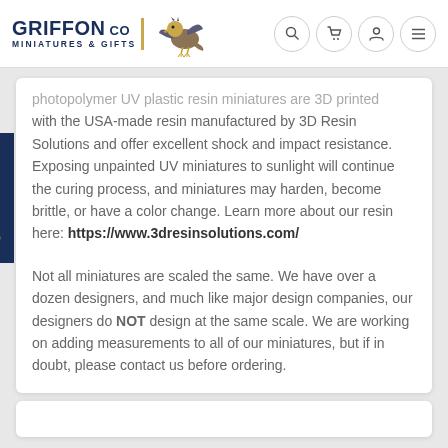GRIFFON CO MINIATURES & GIFTS
photopolymer UV plastic resin miniatures are 3D printed with the USA-made resin manufactured by 3D Resin Solutions and offer excellent shock and impact resistance. Exposing unpainted UV miniatures to sunlight will continue the curing process, and miniatures may harden, become brittle, or have a color change. Learn more about our resin here: https://www.3dresinsolutions.com/
Not all miniatures are scaled the same. We have over a dozen designers, and much like major design companies, our designers do NOT design at the same scale. We are working on adding measurements to all of our miniatures, but if in doubt, please contact us before ordering.